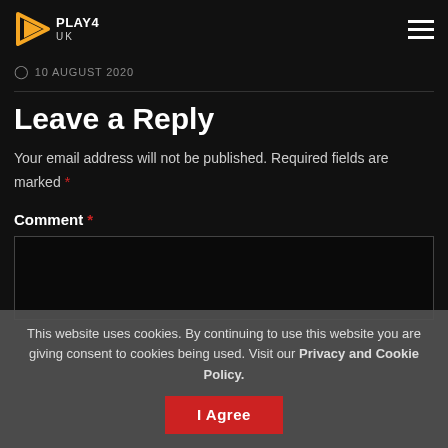PLAY4 UK
10 AUGUST 2020
Leave a Reply
Your email address will not be published. Required fields are marked *
Comment *
This website uses cookies. By continuing to use this website you are giving consent to cookies being used. Visit our Privacy and Cookie Policy.
I Agree